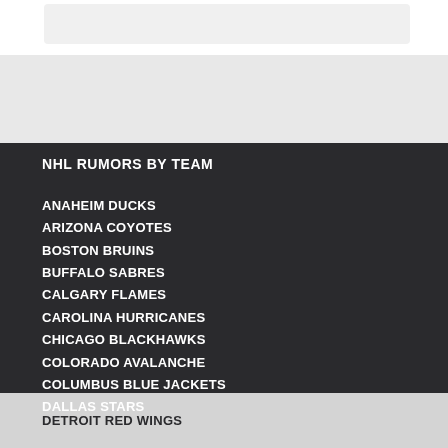NHL RUMORS BY TEAM
ANAHEIM DUCKS
ARIZONA COYOTES
BOSTON BRUINS
BUFFALO SABRES
CALGARY FLAMES
CAROLINA HURRICANES
CHICAGO BLACKHAWKS
COLORADO AVALANCHE
COLUMBUS BLUE JACKETS
DALLAS STARS
DETROIT RED WINGS